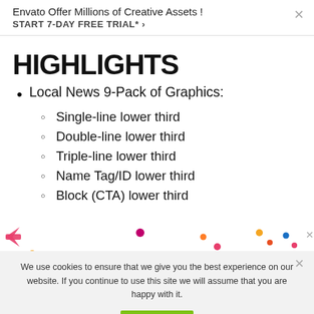Envato Offer Millions of Creative Assets ! START 7-DAY FREE TRIAL* ›
HIGHLIGHTS
Local News 9-Pack of Graphics:
Single-line lower third
Double-line lower third
Triple-line lower third
Name Tag/ID lower third
Block (CTA) lower third
We use cookies to ensure that we give you the best experience on our website. If you continue to use this site we will assume that you are happy with it.
Ok